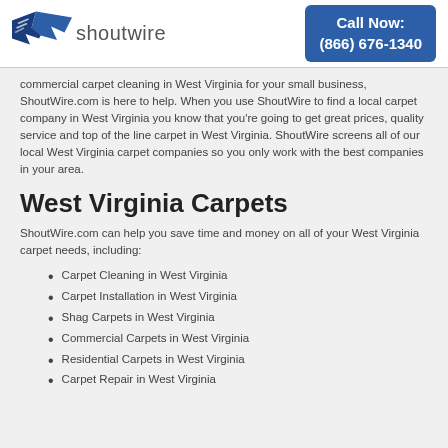shoutwire | Call Now: (866) 676-1340
commercial carpet cleaning in West Virginia for your small business, ShoutWire.com is here to help. When you use ShoutWire to find a local carpet company in West Virginia you know that you're going to get great prices, quality service and top of the line carpet in West Virginia. ShoutWire screens all of our local West Virginia carpet companies so you only work with the best companies in your area.
West Virginia Carpets
ShoutWire.com can help you save time and money on all of your West Virginia carpet needs, including:
Carpet Cleaning in West Virginia
Carpet Installation in West Virginia
Shag Carpets in West Virginia
Commercial Carpets in West Virginia
Residential Carpets in West Virginia
Carpet Repair in West Virginia